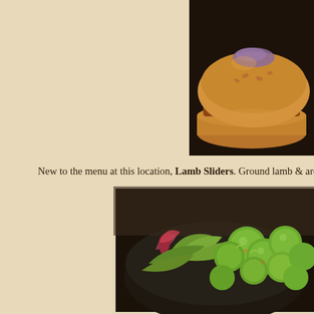[Figure (photo): Close-up photo of a lamb slider burger on a dark background, showing a golden brioche bun with purple onion visible on top]
New to the menu at this location, Lamb Sliders. Ground lamb & aromatic
[Figure (photo): Close-up photo of roasted Brussels sprouts with mixed greens salad in a dark bowl on a dark background]